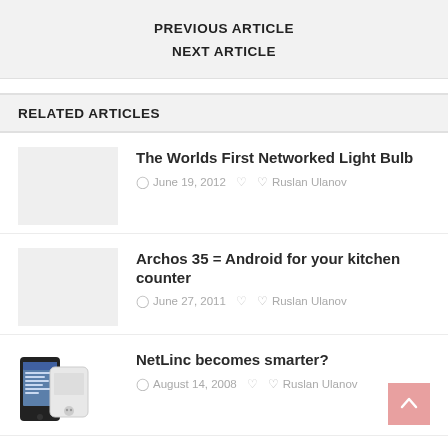PREVIOUS ARTICLE
NEXT ARTICLE
RELATED ARTICLES
The Worlds First Networked Light Bulb
June 19, 2012   Ruslan Ulanov
Archos 35 = Android for your kitchen counter
June 27, 2011   Ruslan Ulanov
NetLinc becomes smarter?
August 14, 2008   Ruslan Ulanov